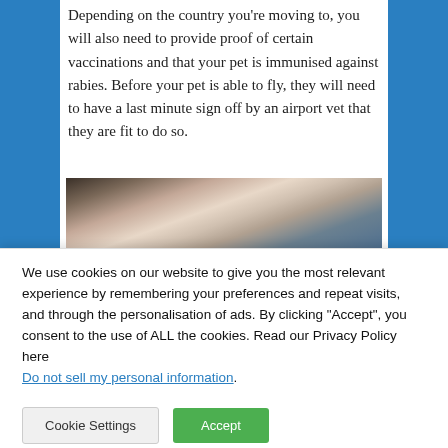Depending on the country you're moving to, you will also need to provide proof of certain vaccinations and that your pet is immunised against rabies. Before your pet is able to fly, they will need to have a last minute sign off by an airport vet that they are fit to do so.
[Figure (photo): A blurred close-up photo of a person with a pet, warm tones with blue in the background.]
We use cookies on our website to give you the most relevant experience by remembering your preferences and repeat visits, and through the personalisation of ads. By clicking "Accept", you consent to the use of ALL the cookies. Read our Privacy Policy here
Do not sell my personal information.
Cookie Settings  Accept